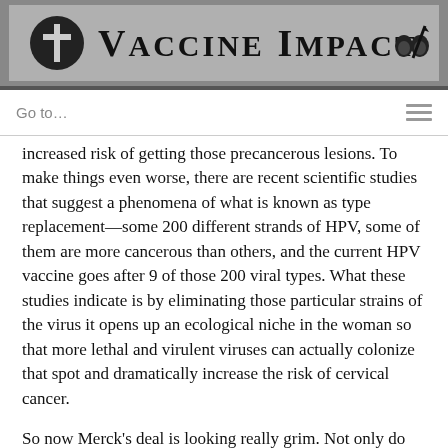Vaccine Impact
Go to…
increased risk of getting those precancerous lesions. To make things even worse, there are recent scientific studies that suggest a phenomena of what is known as type replacement—some 200 different strands of HPV, some of them are more cancerous than others, and the current HPV vaccine goes after 9 of those 200 viral types. What these studies indicate is by eliminating those particular strains of the virus it opens up an ecological niche in the woman so that more lethal and virulent viruses can actually colonize that spot and dramatically increase the risk of cervical cancer.
So now Merck's deal is looking really grim. Not only do we have a one-in-40 chance of getting an autoimmune disease and a 50 percent chance of getting some serious medical condition but now the cancer risk has been reinserted and actually amplified.